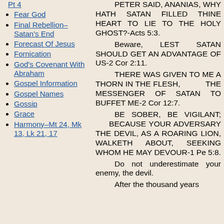Pt 4
Fear God
Final Rebellion–Satan's End
Forecast Of Jesus
Fornication
God's Covenant With Abraham
Gospel Information
Gospel Names
Gossip
Grace
Harmony–Mt 24, Mk 13, Lk 21, 17
PETER SAID, ANANIAS, WHY HATH SATAN FILLED THINE HEART TO LIE TO THE HOLY GHOST?-Acts 5:3.
    Beware, LEST SATAN SHOULD GET AN ADVANTAGE OF US-2 Cor 2:11.
    THERE WAS GIVEN TO ME A THORN IN THE FLESH, THE MESSENGER OF SATAN TO BUFFET ME-2 Cor 12:7.
    BE SOBER, BE VIGILANT; BECAUSE YOUR ADVERSARY THE DEVIL, AS A ROARING LION, WALKETH ABOUT, SEEKING WHOM HE MAY DEVOUR-1 Pe 5:8.
    Do not underestimate your enemy, the devil.
    After the thousand years